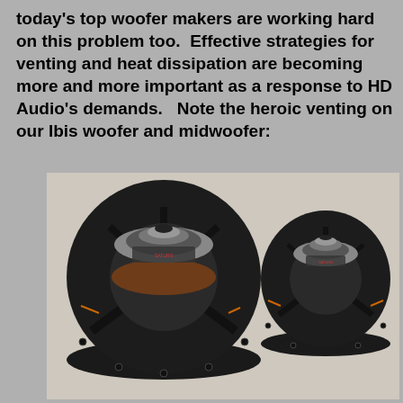today's top woofer makers are working hard on this problem too.  Effective strategies for venting and heat dissipation are becoming more and more important as a response to HD Audio's demands.   Note the heroic venting on our Ibis woofer and midwoofer:
[Figure (photo): Two Ibis woofer/midwoofer speakers photographed from the rear, showing venting structures. The larger woofer is on the left and the smaller midwoofer is on the right. Both have visible metal pole pieces, vented baskets, and cast frames.]